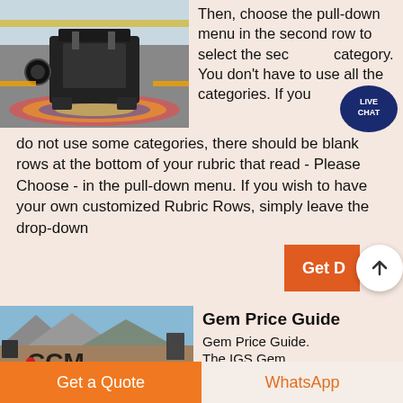[Figure (photo): Industrial machine (impact crusher or similar heavy equipment) photographed in a factory/industrial setting]
Then, choose the pull-down menu in the second row to select the second category. You don't have to use all the categories. If you do not use some categories, there should be blank rows at the bottom of your rubric that read - Please Choose - in the pull-down menu. If you wish to have your own customized Rubric Rows, simply leave the drop-down
[Figure (other): Live Chat speech bubble icon with text LIVE CHAT in teal/dark blue color]
[Figure (other): Get button with up-arrow circle icon, orange background]
[Figure (photo): Construction/mining site with mountains in background, CCM letters visible]
Gem Price Guide
Gem Price Guide. The IGS Gem
Get a Quote
WhatsApp